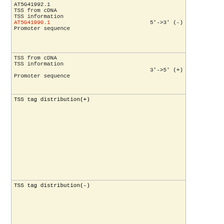AT5G41992.1
TSS from cDNA
TSS information
AT5G41990.1    5'->3' (-)
Promoter sequence
TSS from cDNA
TSS information
3'->5' (+)
Promoter sequence
TSS tag distribution(+)
TSS tag distribution(-)